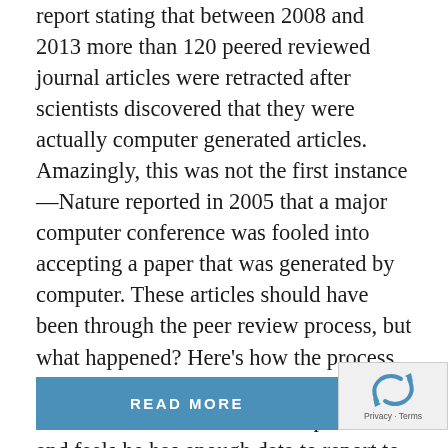report stating that between 2008 and 2013 more than 120 peered reviewed journal articles were retracted after scientists discovered that they were actually computer generated articles. Amazingly, this was not the first instance—Nature reported in 2005 that a major computer conference was fooled into accepting a paper that was generated by computer. These articles should have been through the peer review process, but what happened? Here's how the process is supposed to work: When a researcher has finished with a series of experiments and feels he has enough data to report to the general scientific...
READ MORE